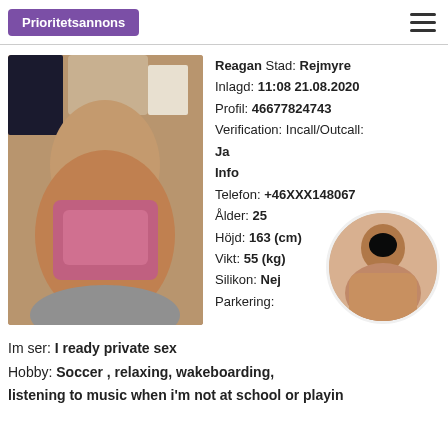Prioritetsannons
[Figure (photo): Main profile photo of a woman in pink lingerie on a couch]
Reagan Stad: Rejmyre
Inlagd: 11:08 21.08.2020
Profil: 46677824743
Verification: Incall/Outcall:
Ja
Info
Telefon: +46XXX148067
Ålder: 25
Höjd: 163 (cm)
Vikt: 55 (kg)
Silikon: Nej
Parkering:
[Figure (photo): Small circular thumbnail photo of a woman]
Im ser: I ready private sex
Hobby: Soccer , relaxing, wakeboarding, listening to music when i'm not at school or playin